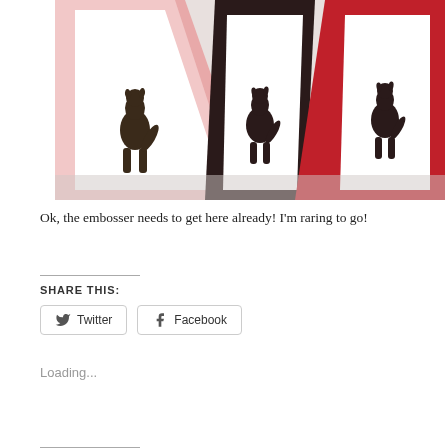[Figure (photo): Three greeting cards with dog silhouettes fanned out against pink, dark, and red colored card stock backgrounds, photographed from above at an angle.]
Ok, the embosser needs to get here already!  I'm raring to go!
SHARE THIS:
Loading...